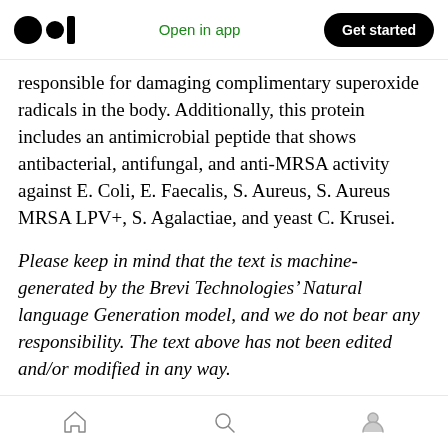Open in app  Get started
responsible for damaging complimentary superoxide radicals in the body. Additionally, this protein includes an antimicrobial peptide that shows antibacterial, antifungal, and anti-MRSA activity against E. Coli, E. Faecalis, S. Aureus, S. Aureus MRSA LPV+, S. Agalactiae, and yeast C. Krusei.
Please keep in mind that the text is machine-generated by the Brevi Technologies’ Natural language Generation model, and we do not bear any responsibility. The text above has not been edited and/or modified in any way.